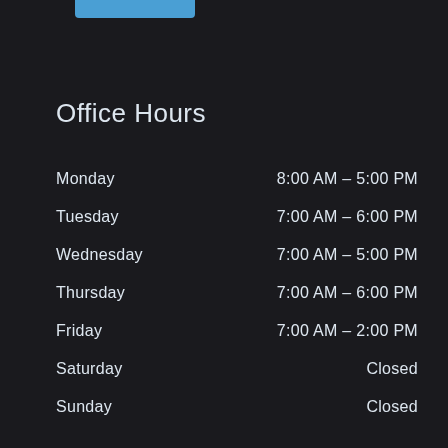Office Hours
| Day | Hours |
| --- | --- |
| Monday | 8:00 AM – 5:00 PM |
| Tuesday | 7:00 AM – 6:00 PM |
| Wednesday | 7:00 AM – 5:00 PM |
| Thursday | 7:00 AM – 6:00 PM |
| Friday | 7:00 AM – 2:00 PM |
| Saturday | Closed |
| Sunday | Closed |